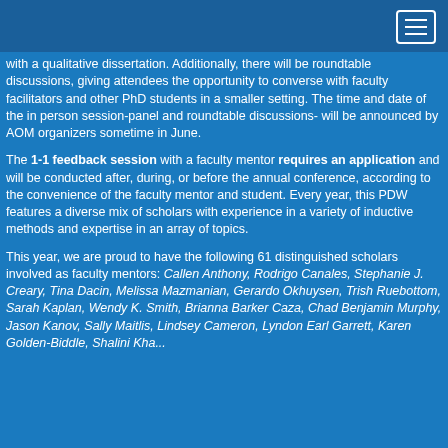with a qualitative dissertation. Additionally, there will be roundtable discussions, giving attendees the opportunity to converse with faculty facilitators and other PhD students in a smaller setting. The time and date of the in person session-panel and roundtable discussions- will be announced by AOM organizers sometime in June.
The 1-1 feedback session with a faculty mentor requires an application and will be conducted after, during, or before the annual conference, according to the convenience of the faculty mentor and student. Every year, this PDW features a diverse mix of scholars with experience in a variety of inductive methods and expertise in an array of topics.
This year, we are proud to have the following 61 distinguished scholars involved as faculty mentors: Callen Anthony, Rodrigo Canales, Stephanie J. Creary, Tina Dacin, Melissa Mazmanian, Gerardo Okhuysen, Trish Ruebottom, Sarah Kaplan, Wendy K. Smith, Brianna Barker Caza, Chad Benjamin Murphy, Jason Kanov, Sally Maitlis, Lindsey Cameron, Lyndon Earl Garrett, Karen Golden-Biddle, Shalini Khandelwal, Ashley Elizabeth Hardin, Kristin Bezecny, Sara Thompson...